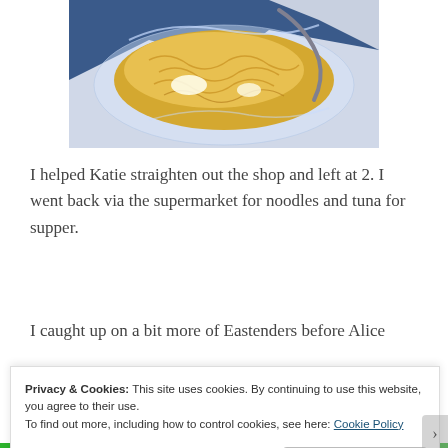[Figure (photo): A close-up photo of yellow/golden food (noodles and possibly other ingredients) in a clear plastic container, placed on a blue surface. The image is partially cropped at the top.]
I helped Katie straighten out the shop and left at 2. I went back via the supermarket for noodles and tuna for supper.
I caught up on a bit more of Eastenders before Alice
Privacy & Cookies: This site uses cookies. By continuing to use this website, you agree to their use.
To find out more, including how to control cookies, see here: Cookie Policy
Close and accept